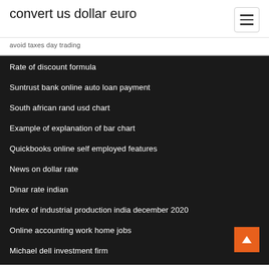convert us dollar euro
avoid taxes day trading
Rate of discount formula
Suntrust bank online auto loan payment
South african rand usd chart
Example of explanation of bar chart
Quickbooks online self employed features
News on dollar rate
Dinar rate indian
Index of industrial production india december 2020
Online accounting work home jobs
Michael dell investment firm